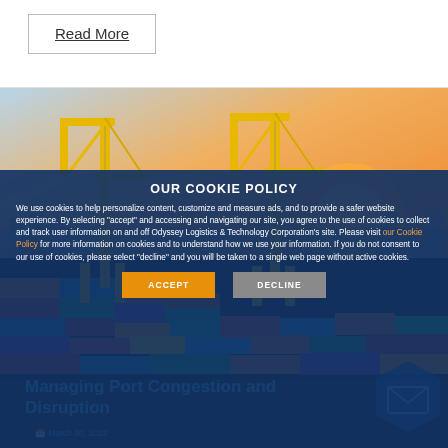Read More
[Figure (photo): Port/shipping yard with large yellow cranes and stacked colorful containers at sunset]
OUR COOKIE POLICY
We use cookies to help personalize content, customize and measure ads, and to provide a safer website experience. By selecting “accept” and accessing and navigating our site, you agree to the use of cookies to collect and track user information on and off Odyssey Logistics & Technology Corporation’s site. Please visit our Cookie Policy for more information on cookies and to understand how we use your information. If you do not consent to our use of cookies, please select “decline” and you will be taken to a single web page without active cookies.
ACCEPT
DECLINE
Managing Port Congestion and Disruption
March 30, 2022